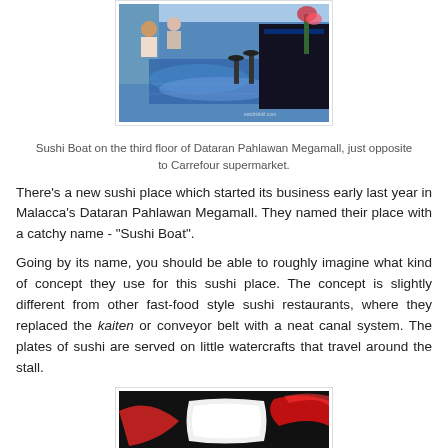[Figure (photo): Interior of Sushi Boat restaurant at Dataran Pahlawan Megamall, showing blue-lit floor, bar stools, and dark counter area with people dining]
Sushi Boat on the third floor of Dataran Pahlawan Megamall, just opposite to Carrefour supermarket.
There's a new sushi place which started its business early last year in Malacca's Dataran Pahlawan Megamall. They named their place with a catchy name - "Sushi Boat".
Going by its name, you should be able to roughly imagine what kind of concept they use for this sushi place. The concept is slightly different from other fast-food style sushi restaurants, where they replaced the kaiten or conveyor belt with a neat canal system. The plates of sushi are served on little watercrafts that travel around the stall.
[Figure (photo): Close-up photo showing a white plate or boat-shaped dish against a dark background with red and white curved shapes]